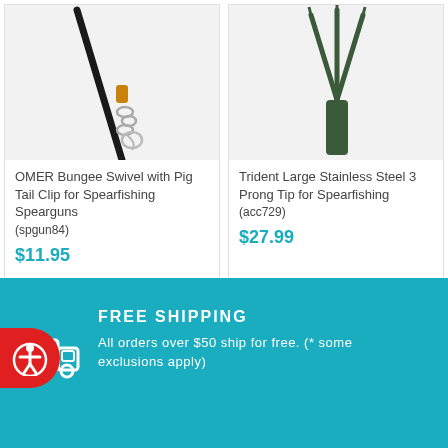[Figure (photo): OMER Bungee Swivel with Pig Tail Clip product photo on light gray background]
OMER Bungee Swivel with Pig Tail Clip for Spearfishing Spearguns (spgun84)
$11.95
[Figure (photo): Trident Large Stainless Steel 3 Prong Tip product photo on light gray background]
Trident Large Stainless Steel 3 Prong Tip for Spearfishing (acc729)
$27.99
FREE SHIPPING
All orders over $50 ship for free. (* some exclusions apply)